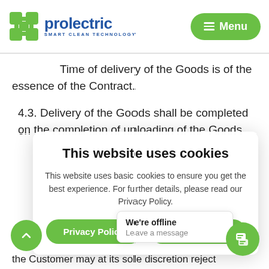Prolectric – Smart Clean Technology – Menu
Time of delivery of the Goods is of the essence of the Contract.
4.3. Delivery of the Goods shall be completed on the completion of unloading of the Goods
[Figure (screenshot): Cookie consent popup overlay with title 'This website uses cookies', explanatory text, and two green buttons: 'Privacy Policy' and 'I understand']
t (90%)
pe
d
the Customer may at its sole discretion reject